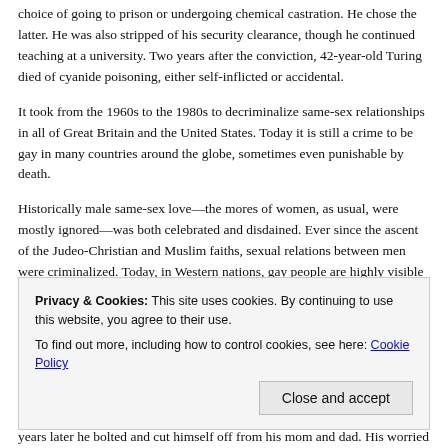choice of going to prison or undergoing chemical castration. He chose the latter. He was also stripped of his security clearance, though he continued teaching at a university. Two years after the conviction, 42-year-old Turing died of cyanide poisoning, either self-inflicted or accidental.
It took from the 1960s to the 1980s to decriminalize same-sex relationships in all of Great Britain and the United States. Today it is still a crime to be gay in many countries around the globe, sometimes even punishable by death.
Historically male same-sex love—the mores of women, as usual, were mostly ignored—was both celebrated and disdained. Ever since the ascent of the Judeo-Christian and Muslim faiths, sexual relations between men were criminalized. Today, in Western nations, gay people are highly visible and their achievements are applauded. In certain circles, it is even chic to be gay.
Still, the acceptance of being gay people is not universal. Too many people,
years later he bolted and cut himself off from his mom and dad. His worried
Privacy & Cookies: This site uses cookies. By continuing to use this website, you agree to their use.
To find out more, including how to control cookies, see here: Cookie Policy
Close and accept